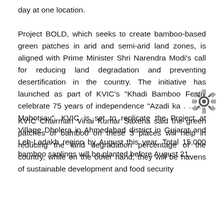day at one location. Project BOLD, which seeks to create bamboo-based green patches in arid and semi-arid land zones, is aligned with Prime Minister Shri Narendra Modi's call for reducing land degradation and preventing desertification in the country. The initiative has launched as part of KVIC's "Khadi Bamboo Festiv celebrate 75 years of independence "Azadi ka Amrit Mahotsav". KVIC is set to replicate the Project at Village Dholera in Ahmedabad district in Gujarat and Leh-Ladakh region by August this year. Total 15,000 bamboo saplings will be planted before August 21.
KVIC Chairman Vinai Kumar Saxena said the green patches of bamboo on these 3 places will help in reducing the land degradation percentage of the country, while on the other hand, they will be havens of sustainable development and food security